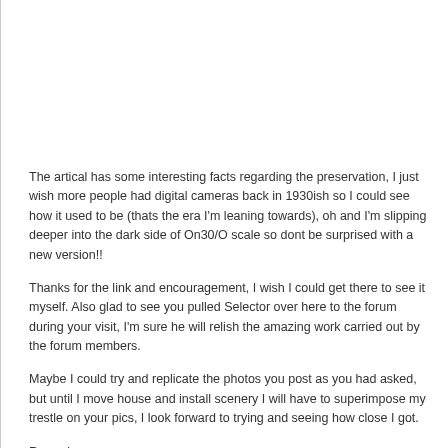The artical has some interesting facts regarding the preservation, I just wish more people had digital cameras back in 1930ish so I could see how it used to be (thats the era I'm leaning towards), oh and I'm slipping deeper into the dark side of On30/O scale so dont be surprised with a new version!!
Thanks for the link and encouragement, I wish I could get there to see it myself. Also glad to see you pulled Selector over here to the forum during your visit, I'm sure he will relish the amazing work carried out by the forum members.
Maybe I could try and replicate the photos you post as you had asked, but until I move house and install scenery I will have to superimpose my trestle on your pics, I look forward to trying and seeing how close I got.
Regards
Karl.A